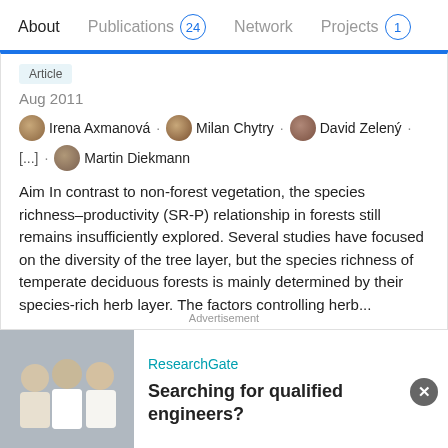About  Publications 24  Network  Projects 1
Article
Aug 2011
Irena Axmanová · Milan Chytry · David Zelený · [...] · Martin Diekmann
Aim In contrast to non-forest vegetation, the species richness–productivity (SR-P) relationship in forests still remains insufficiently explored. Several studies have focused on the diversity of the tree layer, but the species richness of temperate deciduous forests is mainly determined by their species-rich herb layer. The factors controlling herb...
View
Supporting information Figure S1: The species richness–productivity relationship in the herb layer of European deciduous forests
[Figure (photo): Advertisement banner showing ResearchGate logo and text 'Searching for qualified engineers?' with a photo of engineers/lab workers on the left]